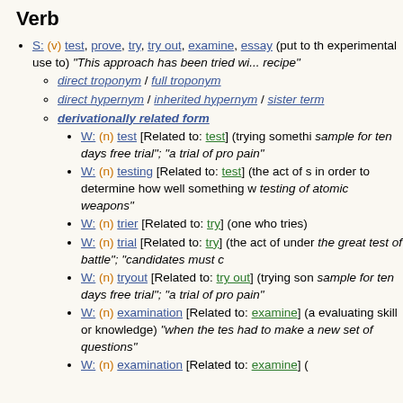Verb
S: (v) test, prove, try, try out, examine, essay (put to the experimental use to) "This approach has been tried with ...recipe"
direct troponym / full troponym
direct hypernym / inherited hypernym / sister term
derivationally related form
W: (n) test [Related to: test] (trying something ... sample for ten days free trial"; "a trial of pro... pain"
W: (n) testing [Related to: test] (the act of s... in order to determine how well something w... testing of atomic weapons"
W: (n) trier [Related to: try] (one who tries)
W: (n) trial [Related to: try] (the act of under... the great test of battle"; "candidates must c...
W: (n) tryout [Related to: try out] (trying son... sample for ten days free trial"; "a trial of pro... pain"
W: (n) examination [Related to: examine] (a... evaluating skill or knowledge) "when the tes... had to make a new set of questions"
W: (n) examination [Related to: examine] (a...